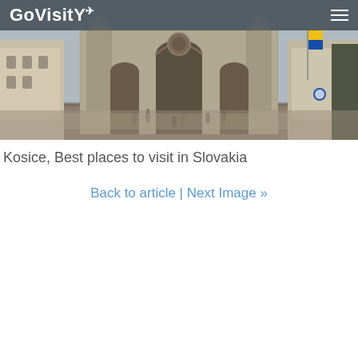GoVisity
[Figure (photo): Panoramic view of a Gothic cathedral facade in Kosice, Slovakia. The building features ornate Gothic architecture with pointed arches and detailed stone carvings. People can be seen in the square in front of the cathedral. The image is wide and spans the full width of the page.]
Kosice, Best places to visit in Slovakia
Back to article | Next Image »